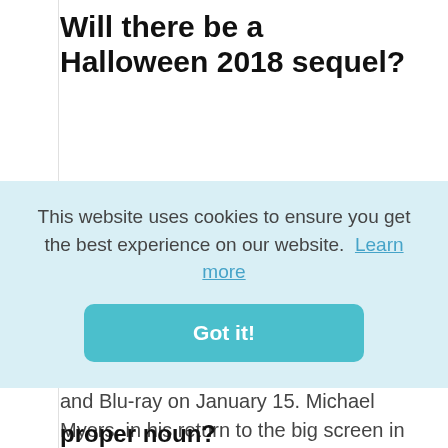Will there be a Halloween 2018 sequel?
[Figure (logo): Twitter and Blogger social share icons — blue Twitter bird icon and orange Blogger B icon]
Four decades after Halloween became a classic, Castle returned in October 2018 to breathe new life (literally) back into Michael Meyers in David Gordon Green's sequel Halloween, hitting DVD and Blu-ray on January 15. Michael Myers, in his return to the big screen in 'Halloween' (2018).
This website uses cookies to ensure you get the best experience on our website.  Learn more
Got it!
proper noun?